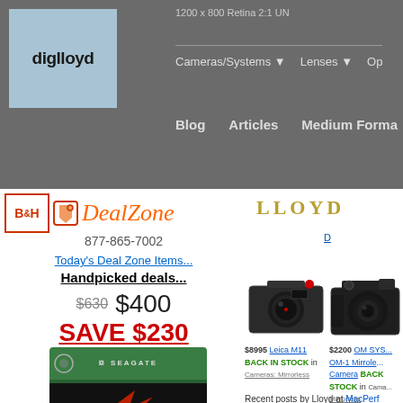diglloyd — 1200 x 800 Retina 2:1 UN
Cameras/Systems ▼   Lenses ▼   Op
Blog   Articles   Medium Forma
[Figure (logo): B&H DealZone logo with tag icon]
877-865-7002
Today's Deal Zone Items...
Handpicked deals...
$630  $400
SAVE $230
[Figure (photo): Seagate IronWolf Pro 20TB hard drive product image]
[Figure (logo): Lloyd logo in gold lettering]
[Figure (photo): Leica M11 camera product photo]
[Figure (photo): OM SYSTEM OM-1 Mirrorless Camera product photo]
$8995 Leica M11 BACK IN STOCK in Cameras: Mirrorless
$2200 OM SYS... OM-1 Mirrorless Camera BACK IN STOCK in Cameras: Mirrorless
Recent posts by Lloyd at MacPerf...
2022-08-24 Sauna use as a lifest...